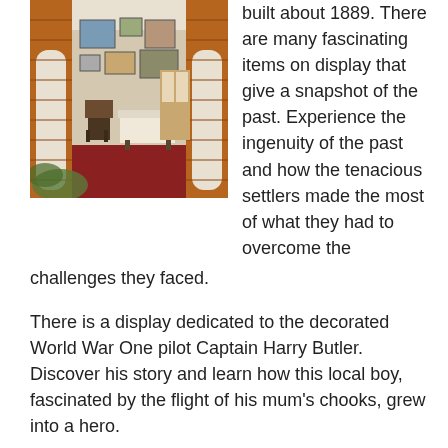[Figure (photo): Interior of a museum or heritage building showing brick arches, framed pictures on walls, a chair, table, and red carpeted floor.]
built about 1889. There are many fascinating items on display that give a snapshot of the past. Experience the ingenuity of the past and how the tenacious settlers made the most of what they had to overcome the challenges they faced.
There is a display dedicated to the decorated World War One pilot Captain Harry Butler. Discover his story and learn how this local boy, fascinated by the flight of his mum's chooks, grew into a hero.
Captain Harry Butler was a World War One fighter pilot ace, who made history after the war by flying a special air mail from Adelaide to Minlaton, across Gulf St Vincent in August 1919. This was the first air mail